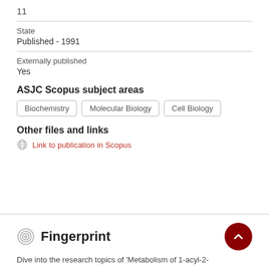11
State
Published - 1991
Externally published
Yes
ASJC Scopus subject areas
Biochemistry
Molecular Biology
Cell Biology
Other files and links
Link to publication in Scopus
Fingerprint
Dive into the research topics of 'Metabolism of 1-acyl-2-